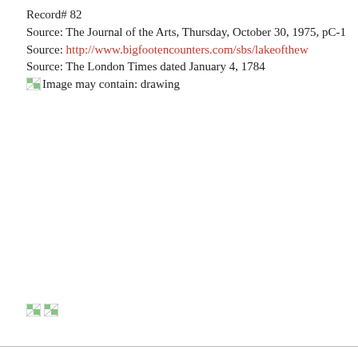Record# 82
Source: The Journal of the Arts, Thursday, October 30, 1975, pC-1
Source: http://www.bigfootencounters.com/sbs/lakeofthew
Source: The London Times dated January 4, 1784
[Figure (illustration): Broken image placeholder with alt text: Image may contain: drawing]
[Figure (illustration): Two broken image placeholders at bottom left of page]